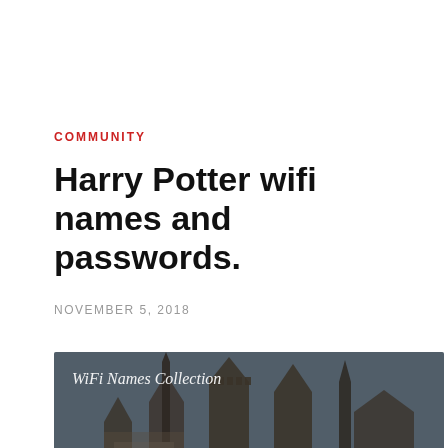COMMUNITY
Harry Potter wifi names and passwords.
NOVEMBER 5, 2018
[Figure (illustration): Dark-tinted photo of Hogwarts castle with towers and spires against a grey sky. 'WiFi Names Collection' written in white script at top left. Large bold white text 'HARRY' partially visible at bottom.]